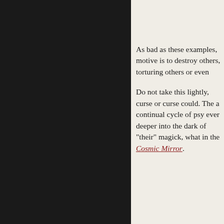As bad as these examples, motive is to destroy others, torturing others or even...
Do not take this lightly, curse or curse could. The a continual cycle of psychology ever deeper into the darkness of "their" magick, what in the Cosmic Mirror.